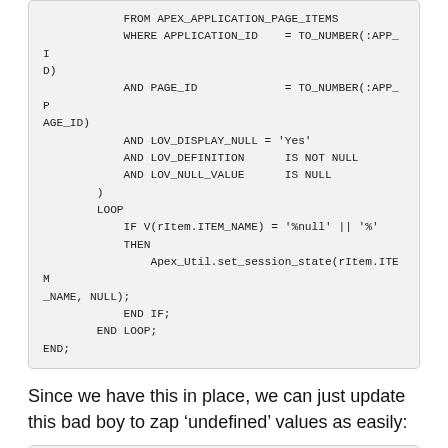FROM APEX_APPLICATION_PAGE_ITEMS
            WHERE APPLICATION_ID    = TO_NUMBER(:APP_ID)
            AND PAGE_ID             = TO_NUMBER(:APP_PAGE_ID)
            AND LOV_DISPLAY_NULL = 'Yes'
            AND LOV_DEFINITION     IS NOT NULL
            AND LOV_NULL_VALUE      IS NULL
        )
        LOOP
            IF V(rItem.ITEM_NAME) = '%null' || '%'
            THEN
                Apex_Util.set_session_state(rItem.ITEM_NAME, NULL);
            END IF;
        END LOOP;
END;
Since we have this in place, we can just update this bad boy to zap 'undefined' values as easily:
BEGIN